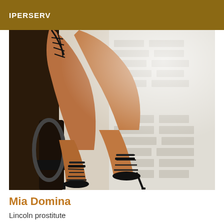IPERSERV
[Figure (photo): Close-up photograph of a person's legs wearing strappy black high-heeled sandals and black strappy ankle details, seated on what appears to be metal stairs with a brick wall background. The image is in high contrast with dramatic lighting.]
Mia Domina
Lincoln prostitute